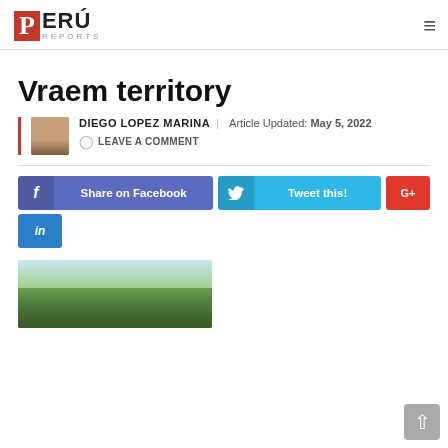PERÚ REPORTS
Vraem territory
DIEGO LOPEZ MARINA | Article Updated: May 5, 2022
LEAVE A COMMENT
Share on Facebook
Tweet this!
G+
in
[Figure (photo): Photo of soldiers or military personnel in jungle terrain near a helicopter]